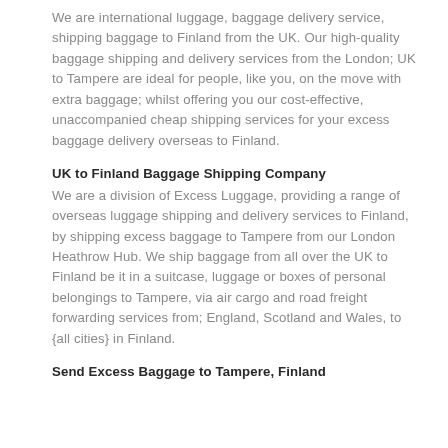We are international luggage, baggage delivery service, shipping baggage to Finland from the UK. Our high-quality baggage shipping and delivery services from the London; UK to Tampere are ideal for people, like you, on the move with extra baggage; whilst offering you our cost-effective, unaccompanied cheap shipping services for your excess baggage delivery overseas to Finland.
UK to Finland Baggage Shipping Company
We are a division of Excess Luggage, providing a range of overseas luggage shipping and delivery services to Finland, by shipping excess baggage to Tampere from our London Heathrow Hub. We ship baggage from all over the UK to Finland be it in a suitcase, luggage or boxes of personal belongings to Tampere, via air cargo and road freight forwarding services from; England, Scotland and Wales, to {all cities} in Finland.
Send Excess Baggage to Tampere, Finland